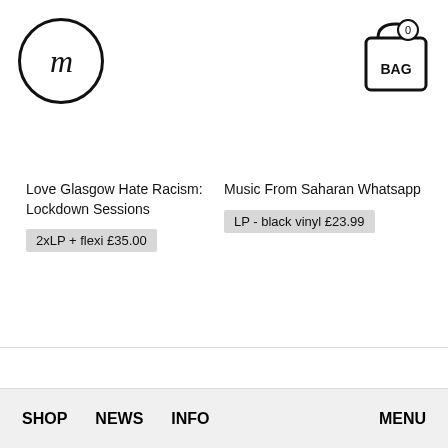[Figure (logo): Circular logo with lowercase italic letter 'm' inside a black circle outline]
[Figure (illustration): Shopping bag icon with '0' badge and 'BAG' text label]
Love Glasgow Hate Racism: Lockdown Sessions
2xLP + flexi £35.00
Music From Saharan Whatsapp
LP - black vinyl £23.99
SHOP NEWS INFO MENU